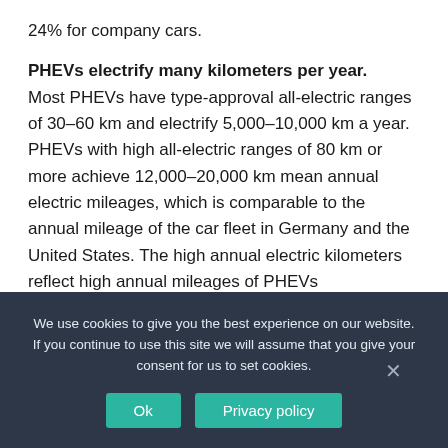24% for company cars.
PHEVs electrify many kilometers per year.
Most PHEVs have type-approval all-electric ranges of 30–60 km and electrify 5,000–10,000 km a year. PHEVs with high all-electric ranges of 80 km or more achieve 12,000–20,000 km mean annual electric mileages, which is comparable to the annual mileage of the car fleet in Germany and the United States. The high annual electric kilometers reflect high annual mileages of PHEVs
We use cookies to give you the best experience on our website. If you continue to use this site we will assume that you give your consent for us to set cookies.